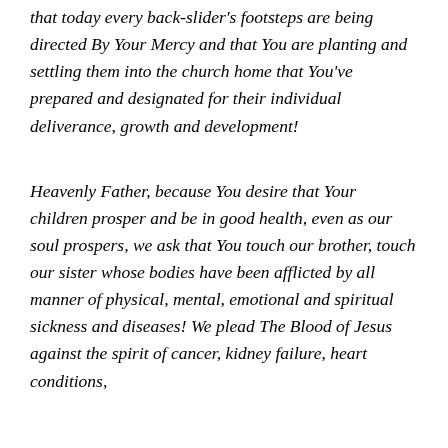that today every back-slider's footsteps are being directed By Your Mercy and that You are planting and settling them into the church home that You've prepared and designated for their individual deliverance, growth and development!
Heavenly Father, because You desire that Your children prosper and be in good health, even as our soul prospers, we ask that You touch our brother, touch our sister whose bodies have been afflicted by all manner of physical, mental, emotional and spiritual sickness and diseases! We plead The Blood of Jesus against the spirit of cancer, kidney failure, heart conditions,